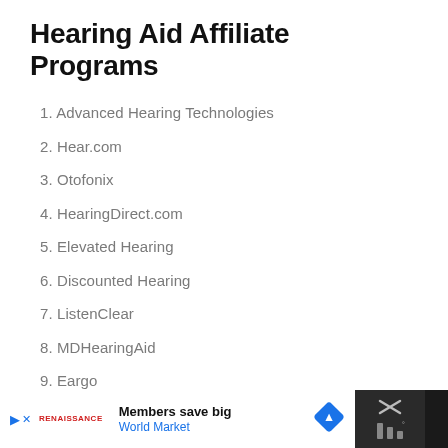Hearing Aid Affiliate Programs
1. Advanced Hearing Technologies
2. Hear.com
3. Otofonix
4. HearingDirect.com
5. Elevated Hearing
6. Discounted Hearing
7. ListenClear
8. MDHearingAid
9. Eargo
[Figure (infographic): Advertisement banner for World Market: 'Members save big / World Market' with play button, close button, blue diamond navigation icon, and dark panel with X and temperature icon.]